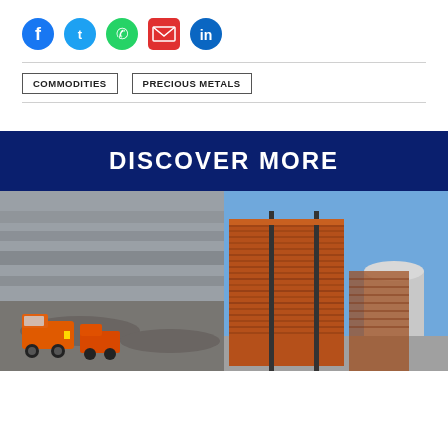[Figure (infographic): Row of social media icons: Facebook (blue circle), Twitter (blue circle), WhatsApp (green circle), Email (red envelope), LinkedIn (blue circle)]
COMMODITIES
PRECIOUS METALS
DISCOVER MORE
[Figure (photo): Open-pit mining scene with large orange haul trucks on rocky terrain with layered rock walls]
[Figure (photo): Stacked copper cathode sheets at an industrial port or storage facility under blue sky]